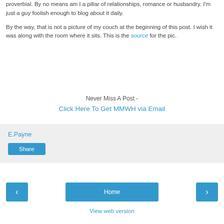proverbial. By no means am I a pillar of relationships, romance or husbandry. I'm just a guy foolish enough to blog about it daily.

By the way, that is not a picture of my couch at the beginning of this post. I wish it was along with the room where it sits. This is the source for the pic.
Never Miss A Post -
Click Here To Get MMWH via Email
E.Payne
Share
Home
View web version